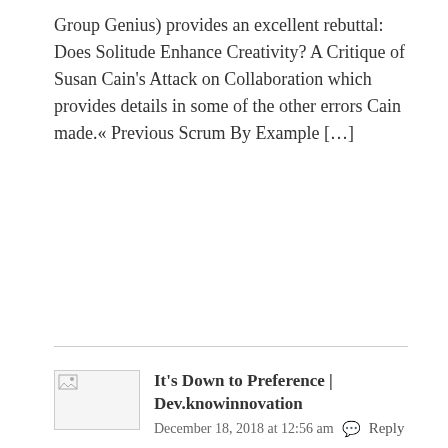Group Genius) provides an excellent rebuttal: Does Solitude Enhance Creativity? A Critique of Susan Cain's Attack on Collaboration which provides details in some of the other errors Cain made.« Previous Scrum By Example […]
[Figure (illustration): Avatar/image placeholder with broken image icon]
It's Down to Preference | Dev.knowinnovation
December 18, 2018 at 12:56 am   Reply
[…] number of innovation practitioners responded to her article, here, here and here, and many of the comments that followed her piece were intelligent and thoughtful, […]